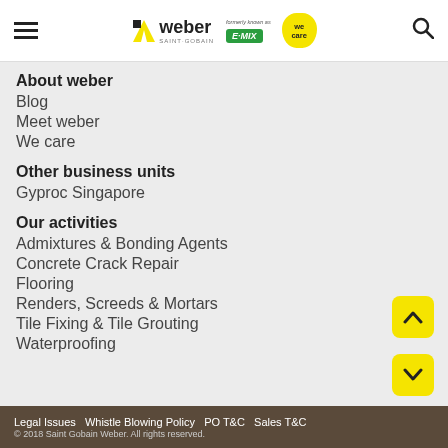weber SAINT-GOBAIN | formerly known as E-MIX | we care | [search]
About weber
Blog
Meet weber
We care
Other business units
Gyproc Singapore
Our activities
Admixtures & Bonding Agents
Concrete Crack Repair
Flooring
Renders, Screeds & Mortars
Tile Fixing & Tile Grouting
Waterproofing
Legal Issues  Whistle Blowing Policy  PO T&C  Sales T&C
© 2018 Saint Gobain Weber. All rights reserved.